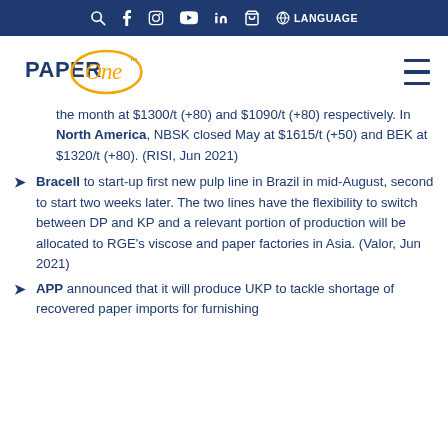Social media navigation bar with search, Facebook, Instagram, YouTube, LinkedIn, cart, and language icons
[Figure (logo): PaperOne logo with orange circular script and dark blue PAPER text]
the month at $1300/t (+80) and $1090/t (+80) respectively. In North America, NBSK closed May at $1615/t (+50) and BEK at $1320/t (+80). (RISI, Jun 2021)
Bracell to start-up first new pulp line in Brazil in mid-August, second to start two weeks later. The two lines have the flexibility to switch between DP and KP and a relevant portion of production will be allocated to RGE's viscose and paper factories in Asia. (Valor, Jun 2021)
APP announced that it will produce UKP to tackle shortage of recovered paper imports for furnishing